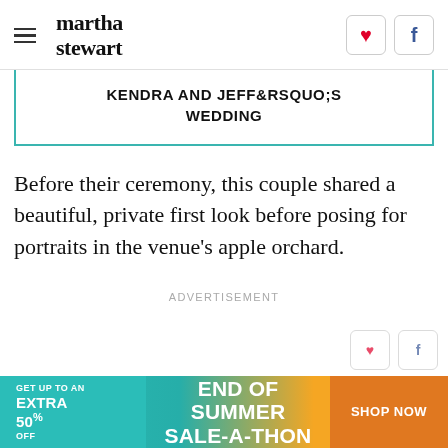martha stewart
KENDRA AND JEFF&RSQUO;S WEDDING
Before their ceremony, this couple shared a beautiful, private first look before posing for portraits in the venue's apple orchard.
ADVERTISEMENT
[Figure (other): Advertisement banner: GET UP TO AN EXTRA 50% OFF — END OF SUMMER SALE-A-THON — SHOP NOW]